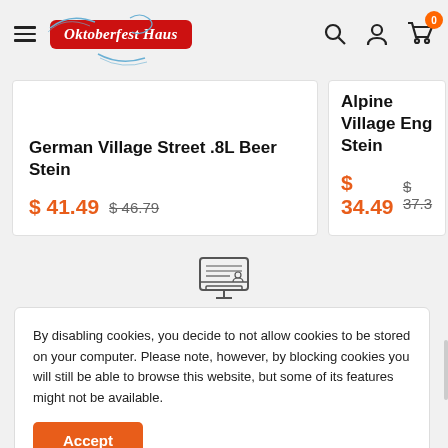[Figure (screenshot): Oktoberfest Haus website header with hamburger menu, logo, search, account, and cart icons]
German Village Street .8L Beer Stein
$ 41.49  $ 46.79
Alpine Village Eng… Stein
$ 34.49  $ 37.3…
[Figure (illustration): Monitor/keyboard icon above cookie consent dialog]
By disabling cookies, you decide to not allow cookies to be stored on your computer.  Please note, however, by blocking cookies you will still be able to browse this website, but some of its features might not be available.
Accept
[Figure (illustration): Box/package icon at bottom of page]